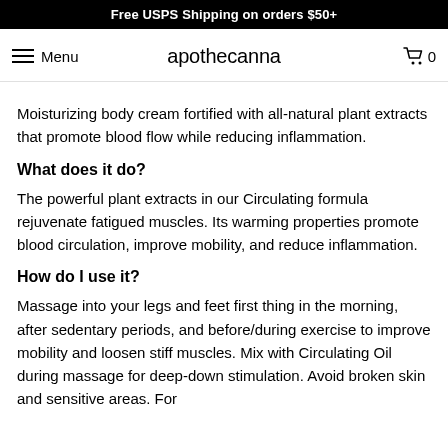Free USPS Shipping on orders $50+
Menu  apothecanna  0
Moisturizing body cream fortified with all-natural plant extracts that promote blood flow while reducing inflammation.
What does it do?
The powerful plant extracts in our Circulating formula rejuvenate fatigued muscles. Its warming properties promote blood circulation, improve mobility, and reduce inflammation.
How do I use it?
Massage into your legs and feet first thing in the morning, after sedentary periods, and before/during exercise to improve mobility and loosen stiff muscles. Mix with Circulating Oil during massage for deep-down stimulation. Avoid broken skin and sensitive areas. For